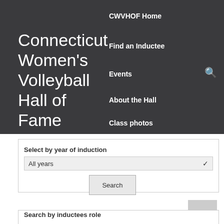Connecticut Women's Volleyball Hall of Fame
CWVHOF Home
Find an Inductee
Events
About the Hall
Class photos
Select by year of induction
All years
Search
Search by inductees role